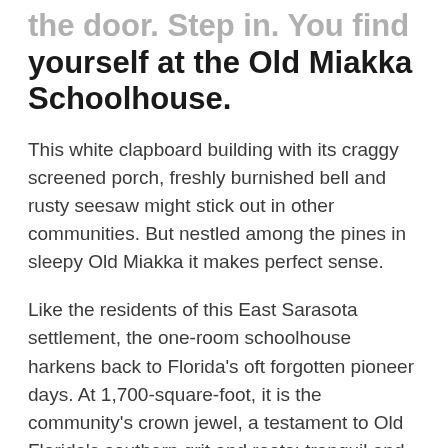the door. Step in. You find yourself at the Old Miakka Schoolhouse.
This white clapboard building with its craggy screened porch, freshly burnished bell and rusty seesaw might stick out in other communities. But nestled among the pines in sleepy Old Miakka it makes perfect sense.
Like the residents of this East Sarasota settlement, the one-room schoolhouse harkens back to Florida's oft forgotten pioneer days. At 1,700-square-foot, it is the community's crown jewel, a testament to Old Florida's southern grit and roots; tranquil and charming down to the wasps living in the eaves.
"When you walk in the ghosts say hey, and you say hey back," says Becky Ayech, President of the Miakka Community Club. "The fact that it's still standing, when everything else old in Sarasota County gets torn down